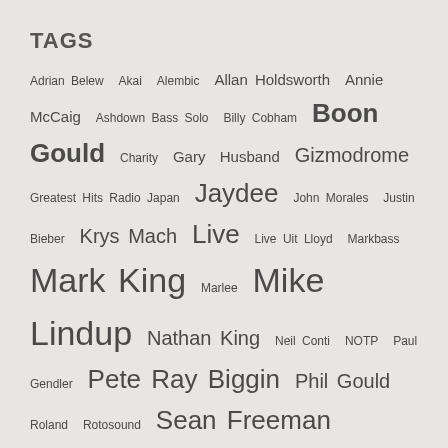TAGS
Adrian Belew Akai Alembic Allan Holdsworth Annie McCaig Ashdown Bass Solo Billy Cobham Boon Gould Charity Gary Husband Gizmodrome Greatest Hits Radio Japan Jaydee John Morales Justin Bieber Krys Mach Live Live Uit Lloyd Markbass Mark King Marlee Mike Lindup Nathan King Neil Conti NOTP Paul Gendler Pete Ray Biggin Phil Gould Roland Rotosound Sean Freeman SoundCloud Status Graphite Suzi Perry Tama TC Electronic The Hustle TopPop UB40 Vimeo Vittorio Cosma Wally Badarou YouTube